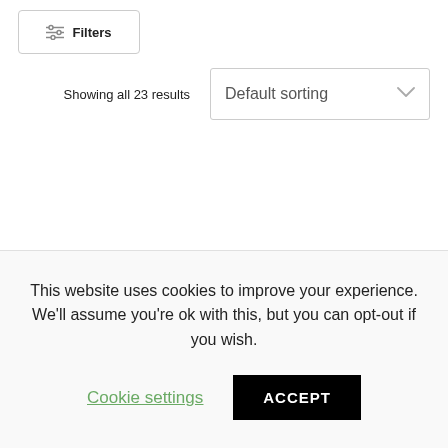[Figure (other): Filters button with sliders icon and bold 'Filters' label, inside a rounded rectangle border]
Showing all 23 results
[Figure (other): Default sorting dropdown selector with chevron arrow on right]
This website uses cookies to improve your experience. We'll assume you're ok with this, but you can opt-out if you wish.
Cookie settings
ACCEPT